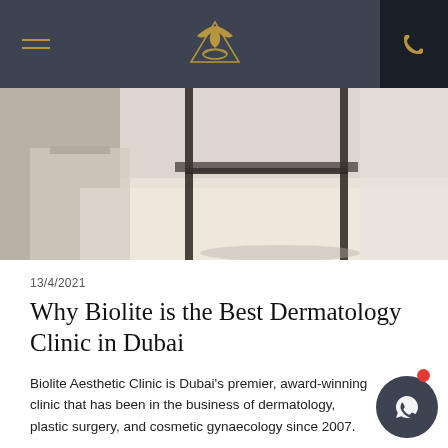Biolite Aesthetic Clinic navigation bar with hamburger menu, logo, and call button
[Figure (photo): Interior of a clean clinic room showing metal furniture frames and light-colored flooring]
13/4/2021
Why Biolite is the Best Dermatology Clinic in Dubai
Biolite Aesthetic Clinic is Dubai's premier, award-winning clinic that has been in the business of dermatology, plastic surgery, and cosmetic gynaecology since 2007.